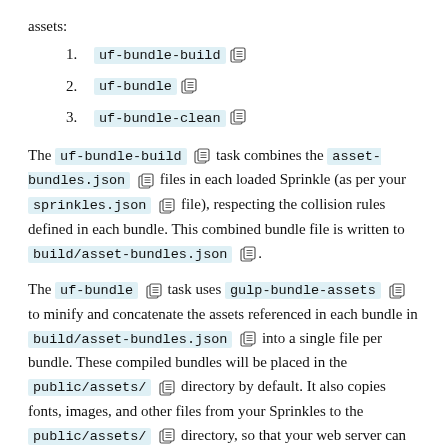assets:
uf-bundle-build
uf-bundle
uf-bundle-clean
The uf-bundle-build task combines the asset-bundles.json files in each loaded Sprinkle (as per your sprinkles.json file), respecting the collision rules defined in each bundle. This combined bundle file is written to build/asset-bundles.json.
The uf-bundle task uses gulp-bundle-assets to minify and concatenate the assets referenced in each bundle in build/asset-bundles.json into a single file per bundle. These compiled bundles will be placed in the public/assets/ directory by default. It also copies fonts, images, and other files from your Sprinkles to the public/assets/ directory, so that your web server can directly serve these files as well.